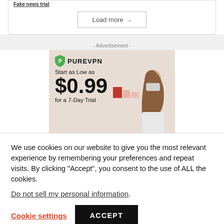Fake news trial
Load more
- Advertisement -
[Figure (illustration): PureVPN advertisement banner showing logo, price '$0.99', text 'Start as Low as' and 'for a 7-Day Trial', with image of woman wearing face mask and red blocks graphic element on beige background]
We use cookies on our website to give you the most relevant experience by remembering your preferences and repeat visits. By clicking "Accept", you consent to the use of ALL the cookies.
Do not sell my personal information.
Cookie settings
ACCEPT